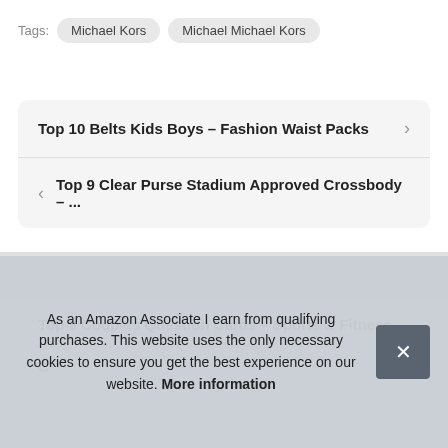Tags:  Michael Kors  Michael Michael Kors
Top 10 Belts Kids Boys – Fashion Waist Packs
< Top 9 Clear Purse Stadium Approved Crossbody – ...
Top 9 Couples Question Cards – Sports & Fitness
As an Amazon Associate I earn from qualifying purchases. This website uses the only necessary cookies to ensure you get the best experience on our website. More information